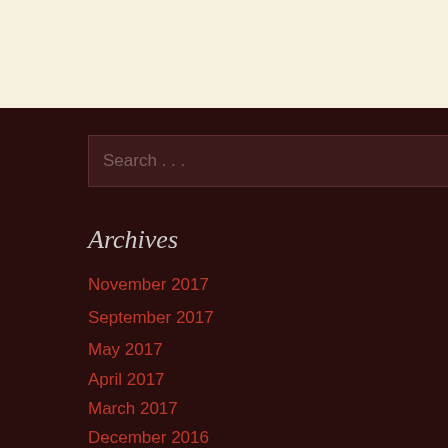[Figure (other): Cream/beige colored top bar background area]
Search . . .
Archives
November 2017
September 2017
May 2017
April 2017
March 2017
December 2016
November 2016